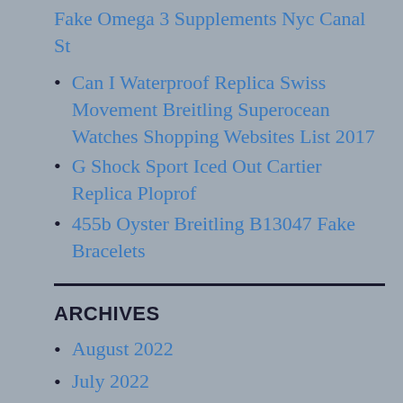Fake Omega 3 Supplements Nyc Canal St
Can I Waterproof Replica Swiss Movement Breitling Superocean Watches Shopping Websites List 2017
G Shock Sport Iced Out Cartier Replica Ploprof
455b Oyster Breitling B13047 Fake Bracelets
ARCHIVES
August 2022
July 2022
June 2022
May 2022